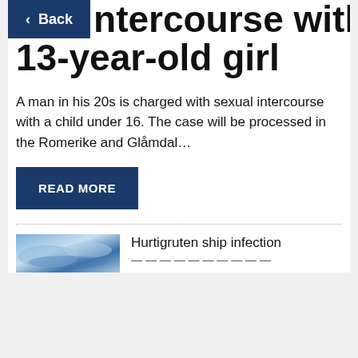ntercourse with 13-year-old girl
A man in his 20s is charged with sexual intercourse with a child under 16. The case will be processed in the Romerike and Glåmdal…
READ MORE
Hurtigruten ship infection